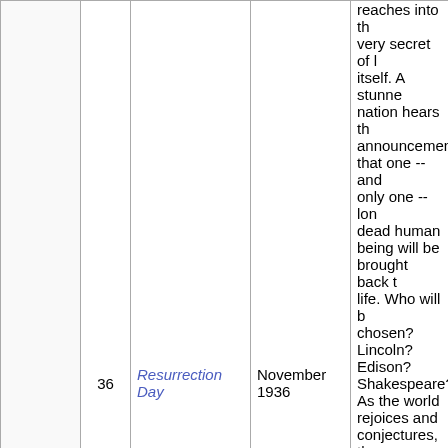|  |  | # | Title | Date | Description |
| --- | --- | --- | --- | --- | --- |
|  |  | 36 | Resurrection Day | November 1936 | reaches into the very secret of life itself. A stunned nation hears the announcement that one -- and only one -- long-dead human being will be brought back to life. Who will be chosen? Lincoln? Edison? Shakespeare? As the world rejoices and conjectures, the powers of Evil plan a final, insidious joke on all humanity! |
|  |  |  |  |  | From the moment Miles Billings arrived a little town near Salem Corners called Witches' Hollow, Hanna the witch began her reign of terror. While |